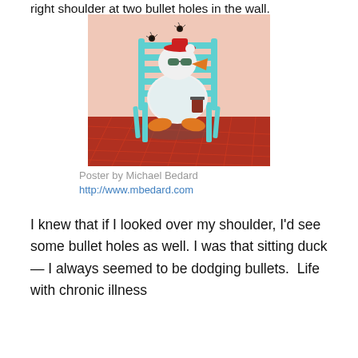right shoulder at two bullet holes in the wall.
[Figure (illustration): Painting of a cartoon duck wearing sunglasses and a white robe, sitting in a teal lawn chair on a red tiled floor, with two bullet holes visible in the pink wall behind it. The duck holds a small drink. The image is rendered in a stylized, painterly illustration style.]
Poster by Michael Bedard
http://www.mbedard.com
I knew that if I looked over my shoulder, I'd see some bullet holes as well. I was that sitting duck — I always seemed to be dodging bullets.  Life with chronic illness